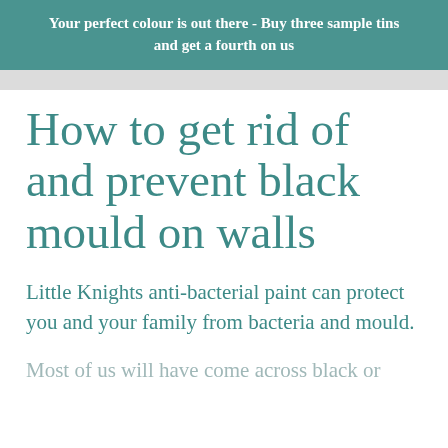Your perfect colour is out there - Buy three sample tins and get a fourth on us
How to get rid of and prevent black mould on walls
Little Knights anti-bacterial paint can protect you and your family from bacteria and mould.
Most of us will have come across black or